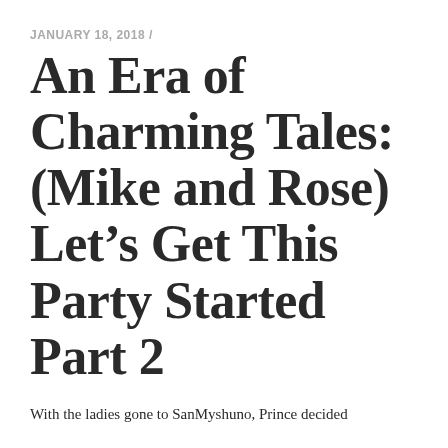JANUARY 18, 2018 /
An Era of Charming Tales: (Mike and Rose) Let's Get This Party Started Part 2
With the ladies gone to SanMyshuno, Prince decided